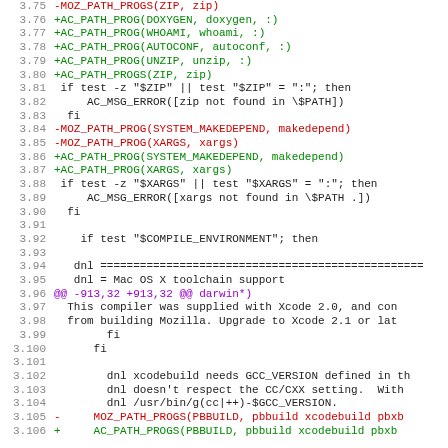[Figure (screenshot): Code diff view showing lines 3.75 to 3.106 of a configure.ac or similar autoconf file, with red lines indicating removed content and green lines indicating added content, along with context lines in black.]